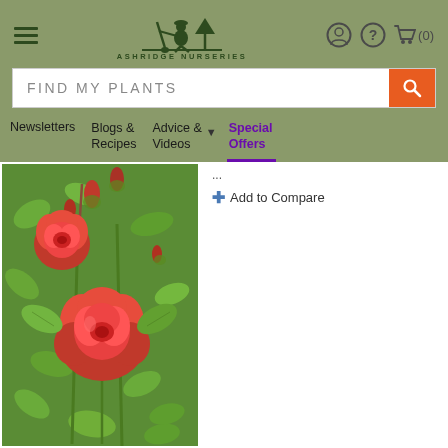Ashridge Nurseries – navigation header with hamburger menu, logo, search bar, and nav links: Newsletters, Blogs & Recipes, Advice & Videos, Special Offers
[Figure (photo): Close-up photograph of bright red semi-double roses with green foliage and buds on the plant]
Add to Compare
Colour: Bright, light red. Shape: Semi-double